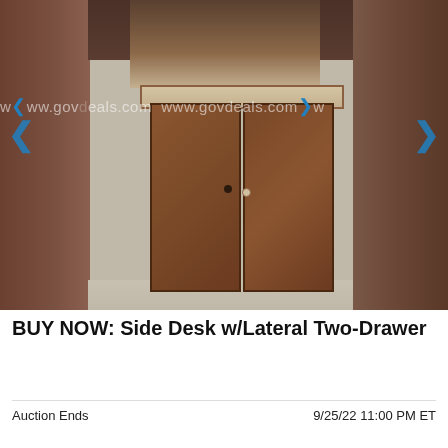[Figure (photo): Photo of a dark brown wooden two-door storage cabinet with sliding doors and small handles, sitting on carpet in an office/storage room. Upper shelf visible above the cabinet. Watermark 'www.govdeals.com' repeated across the image. Navigation arrows visible on left and right sides.]
BUY NOW: Side Desk w/Lateral Two-Drawer
Auction Ends
9/25/22 11:00 PM ET